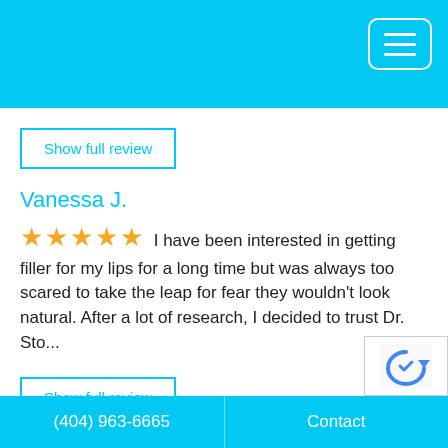highly qualified and I recommend him withou...
Show full review
Vanessa J.
★★★★★ I have been interested in getting filler for my lips for a long time but was always too scared to take the leap for fear they wouldn't look natural. After a lot of research, I decided to trust Dr. Sto...
Show full review
Britt H
★★★★★ Very beautiful office; friendly staff. Dr. Strong is very knowledgeable, trustworthy & thorough. He is patient and takes the time to listen to every
(404) 963-6665    Contact